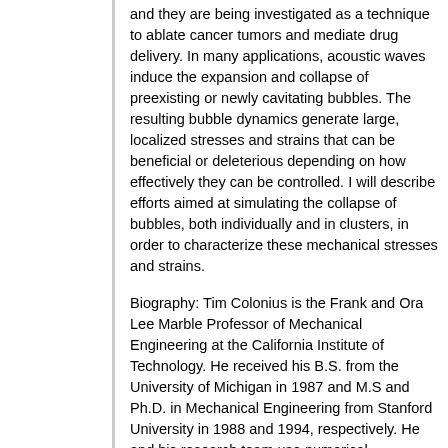and they are being investigated as a technique to ablate cancer tumors and mediate drug delivery. In many applications, acoustic waves induce the expansion and collapse of preexisting or newly cavitating bubbles. The resulting bubble dynamics generate large, localized stresses and strains that can be beneficial or deleterious depending on how effectively they can be controlled. I will describe efforts aimed at simulating the collapse of bubbles, both individually and in clusters, in order to characterize these mechanical stresses and strains.
Biography: Tim Colonius is the Frank and Ora Lee Marble Professor of Mechanical Engineering at the California Institute of Technology. He received his B.S. from the University of Michigan in 1987 and M.S and Ph.D. in Mechanical Engineering from Stanford University in 1988 and 1994, respectively. He and his research team use numerical simulations to study a range of problems in fluid dynamics, including aeroacoustics, flow control, instabilities, shock waves, and bubble dynamics. Prof. Colonius also investigates medical applications of ultrasound, and is a member of the Medical Engineering faculty at Caltech. He is a Fellow of the American Physical Society and the Acoustical Society of America, and he is Editor-in-Chief of the journal Theoretical and Computational Fluid Dynamics. He was the recipient of the 2018 AIAA Aeroacoustics Award.
Host: AME Department